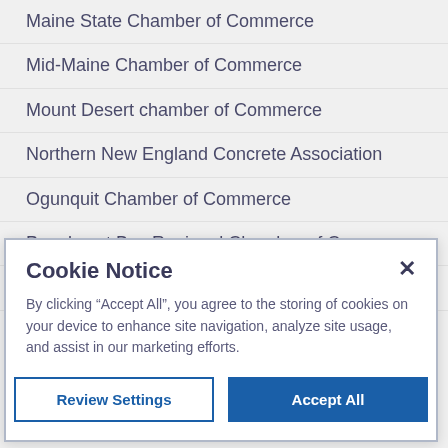Maine State Chamber of Commerce
Mid-Maine Chamber of Commerce
Mount Desert chamber of Commerce
Northern New England Concrete Association
Ogunquit Chamber of Commerce
Penobscot Bay Regional Chamber of Commerce
Rangeley Lakes Chamber of Commerce
Cookie Notice
By clicking “Accept All”, you agree to the storing of cookies on your device to enhance site navigation, analyze site usage, and assist in our marketing efforts.
Review Settings | Accept All